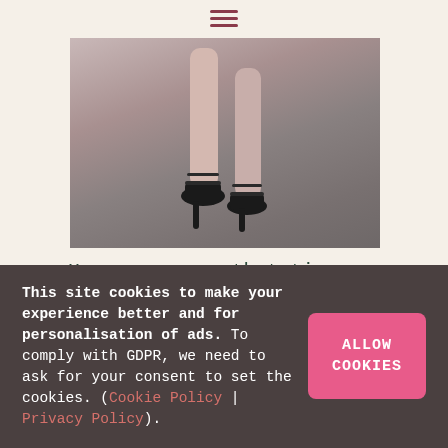[Figure (photo): Close-up photograph of a woman's legs wearing black high-heeled sandals, photographed from below against a grey/beige background]
Have you seen that tiny Japanese lady on TV, the one that wants us to clear out anything that fails to 'spark joy'? I love the idea, it's just, well, everything I own sparks joy! I fear I may need a whole wing of a stately home to store all the
This site cookies to make your experience better and for personalisation of ads. To comply with GDPR, we need to ask for your consent to set the cookies. (Cookie Policy | Privacy Policy).